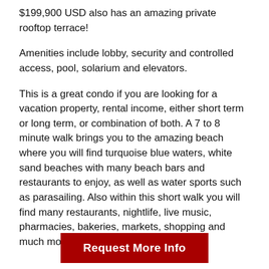$199,900 USD also has an amazing private rooftop terrace!
Amenities include lobby, security and controlled access, pool, solarium and elevators.
This is a great condo if you are looking for a vacation property, rental income, either short term or long term, or combination of both. A 7 to 8 minute walk brings you to the amazing beach where you will find turquoise blue waters, white sand beaches with many beach bars and restaurants to enjoy, as well as water sports such as parasailing. Also within this short walk you will find many restaurants, nightlife, live music, pharmacies, bakeries, markets, shopping and much more. You and your guests
Request More Info